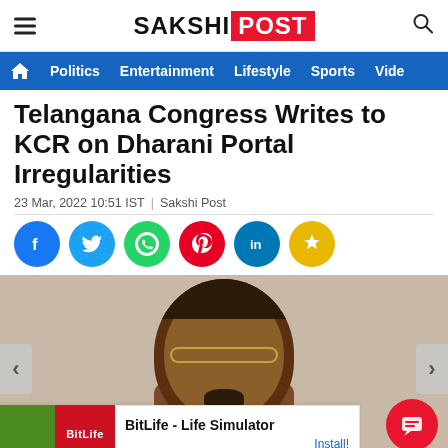SAKSHI POST
Politics  Entertainment  Lifestyle  Sports  Video
Telangana Congress Writes to KCR on Dharani Portal Irregularities
23 Mar, 2022 10:51 IST | Sakshi Post
[Figure (photo): Photo of a man with glasses and a beard, likely a politician]
BitLife - Life Simulator  Install!